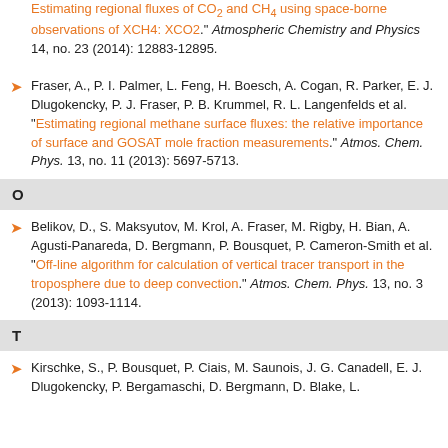Estimating regional fluxes of CO2 and CH4 using space-borne observations of XCH4: XCO2. Atmospheric Chemistry and Physics 14, no. 23 (2014): 12883-12895.
Fraser, A., P. I. Palmer, L. Feng, H. Boesch, A. Cogan, R. Parker, E. J. Dlugokencky, P. J. Fraser, P. B. Krummel, R. L. Langenfelds et al. "Estimating regional methane surface fluxes: the relative importance of surface and GOSAT mole fraction measurements." Atmos. Chem. Phys. 13, no. 11 (2013): 5697-5713.
O
Belikov, D., S. Maksyutov, M. Krol, A. Fraser, M. Rigby, H. Bian, A. Agusti-Panareda, D. Bergmann, P. Bousquet, P. Cameron-Smith et al. "Off-line algorithm for calculation of vertical tracer transport in the troposphere due to deep convection." Atmos. Chem. Phys. 13, no. 3 (2013): 1093-1114.
T
Kirschke, S., P. Bousquet, P. Ciais, M. Saunois, J. G. Canadell, E. J. Dlugokencky, P. Bergamaschi, D. Bergmann, D. Blake, L.